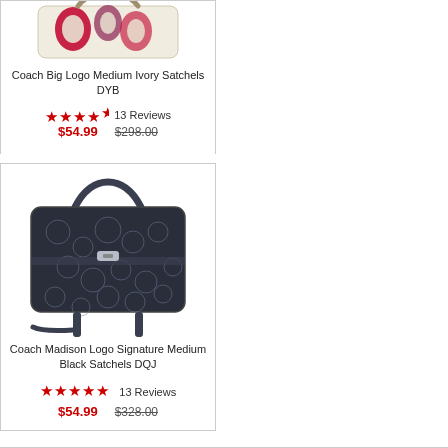[Figure (photo): Top portion of Coach Big Logo Medium Ivory Satchels DYB bag, showing cream/ivory fabric with red Coach logo pattern]
Coach Big Logo Medium Ivory Satchels DYB
4.5 stars   13 Reviews
$54.99   $298.00
[Figure (photo): Coach Madison Logo Signature Medium Black Satchels DQJ — dark navy/black fabric with signature C logo pattern and shoulder strap]
Coach Madison Logo Signature Medium Black Satchels DQJ
5 stars   13 Reviews
$54.99   $328.00